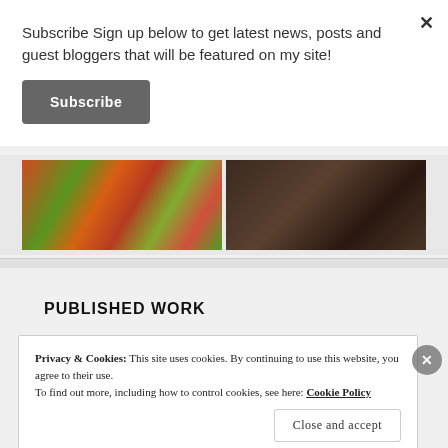Subscribe Sign up below to get latest news, posts and guest bloggers that will be featured on my site!
[Figure (other): Subscribe button - dark gray rounded rectangle with white bold text reading 'Subscribe']
[Figure (photo): Two food photos side by side: left shows colorful decorated food items with peppers and garnishes on ice, right shows dark-toned mushroom or similar food items]
PUBLISHED WORK
Privacy & Cookies: This site uses cookies. By continuing to use this website, you agree to their use.
To find out more, including how to control cookies, see here: Cookie Policy
[Figure (other): Close and accept button - white rectangle with border and text 'Close and accept']